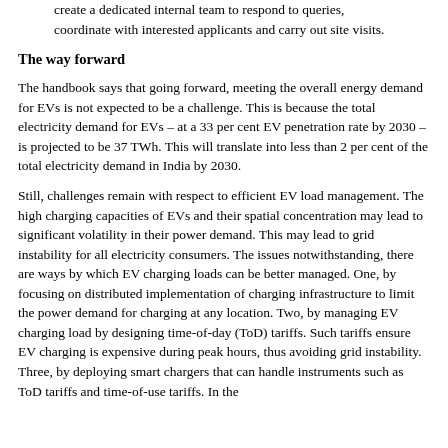create a dedicated internal team to respond to queries, coordinate with interested applicants and carry out site visits.
The way forward
The handbook says that going forward, meeting the overall energy demand for EVs is not expected to be a challenge. This is because the total electricity demand for EVs – at a 33 per cent EV penetration rate by 2030 – is projected to be 37 TWh. This will translate into less than 2 per cent of the total electricity demand in India by 2030.
Still, challenges remain with respect to efficient EV load management. The high charging capacities of EVs and their spatial concentration may lead to significant volatility in their power demand. This may lead to grid instability for all electricity consumers. The issues notwithstanding, there are ways by which EV charging loads can be better managed. One, by focusing on distributed implementation of charging infrastructure to limit the power demand for charging at any location. Two, by managing EV charging load by designing time-of-day (ToD) tariffs. Such tariffs ensure EV charging is expensive during peak hours, thus avoiding grid instability. Three, by deploying smart chargers that can handle instruments such as ToD tariffs and time-of-use tariffs. In the